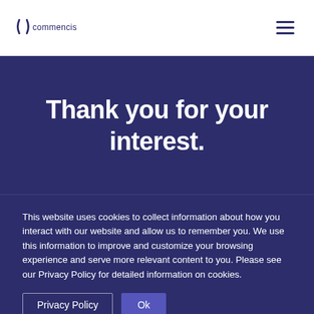[Figure (logo): Commencis logo – lowercase 'commencis' text with a stylized arc/bracket mark, in dark navy/indigo color]
Thank you for your interest.
This website uses cookies to collect information about how you interact with our website and allow us to remember you. We use this information to improve and customize your browsing experience and serve more relevant content to you. Please see our Privacy Policy for detailed information on cookies.